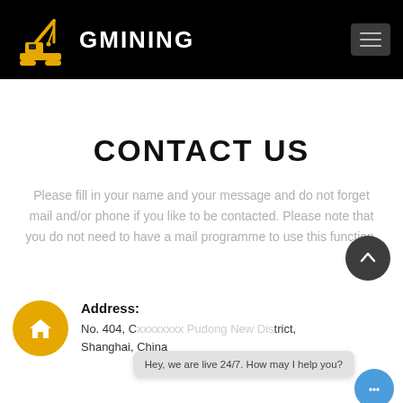GMINING
CONTACT US
Please fill in your name and your message and do not forget mail and/or phone if you like to be contacted. Please note that you do not need to have a mail programme to use this function.
Address:
No. 404, Cao He Jing Road, Pudong New District, Shanghai, China
Hey, we are live 24/7. How may I help you?